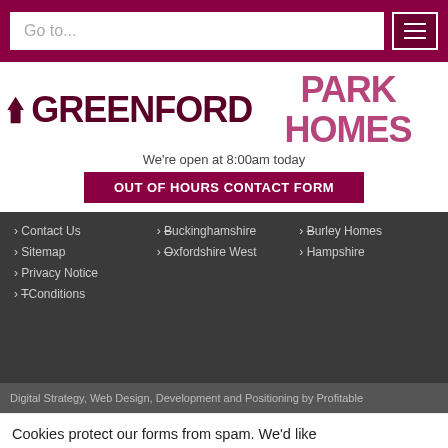Go to...
GREENFORD PARK HOMES
We're open at 8:00am today
OUT OF HOURS CONTACT FORM
Contact Us
Sitemap
Privacy Notice
Conditions
Buckinghamshire
Oxfordshire West
Burley Homes
Hampshire
Digital Strategy, Web Design, Development and Positioning by Profitable
Cookies protect our forms from spam. We'd like to use cookies for analytics and so that you can use Google Maps on our site. If you accept, please use the button on the right. Our privacy notice explains in detail.